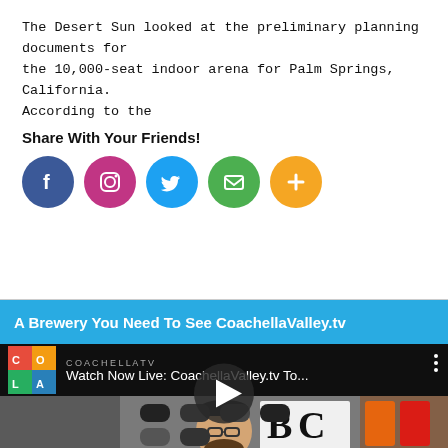The Desert Sun looked at the preliminary planning documents for the 10,000-seat indoor arena for Palm Springs, California. According to the
Share With Your Friends!
[Figure (infographic): Five social media share icons in circles: Facebook (blue), Instagram (gradient orange/purple), Twitter (blue), Email (green), More/Plus (orange)]
A Brewery You Need To See CoachellaValley.tv
[Figure (screenshot): Video thumbnail showing a man with a beard and glasses wearing a white t-shirt standing at a bar counter with tap handles. Coachella logo in top-left. Text overlay reads 'Watch Now Live: CoachellaValley.tv To...' A play button is centered over the image. Background shows hats on wall and BC sign with COLD BREW COFFEE ON NITRO sign.]